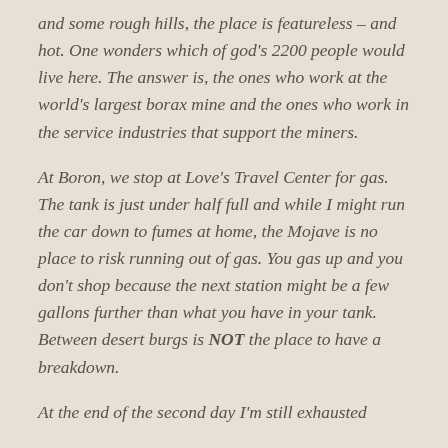and some rough hills, the place is featureless – and hot. One wonders which of god's 2200 people would live here. The answer is, the ones who work at the world's largest borax mine and the ones who work in the service industries that support the miners.
At Boron, we stop at Love's Travel Center for gas. The tank is just under half full and while I might run the car down to fumes at home, the Mojave is no place to risk running out of gas. You gas up and you don't shop because the next station might be a few gallons further than what you have in your tank. Between desert burgs is NOT the place to have a breakdown.
At the end of the second day I'm still exhausted